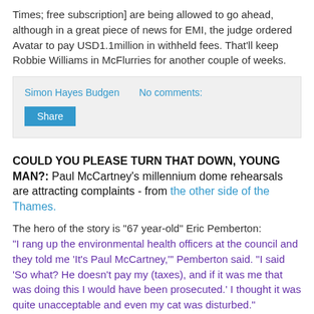Times; free subscription] are being allowed to go ahead, although in a great piece of news for EMI, the judge ordered Avatar to pay USD1.1million in withheld fees. That'll keep Robbie Williams in McFlurries for another couple of weeks.
Simon Hayes Budgen   No comments:   Share
COULD YOU PLEASE TURN THAT DOWN, YOUNG MAN?: Paul McCartney's millennium dome rehearsals are attracting complaints - from the other side of the Thames.
The hero of the story is "67 year-old" Eric Pemberton: "I rang up the environmental health officers at the council and they told me 'It's Paul McCartney,'" Pemberton said. "I said 'So what? He doesn't pay my (taxes), and if it was me that was doing this I would have been prosecuted.' I thought it was quite unacceptable and even my cat was disturbed."